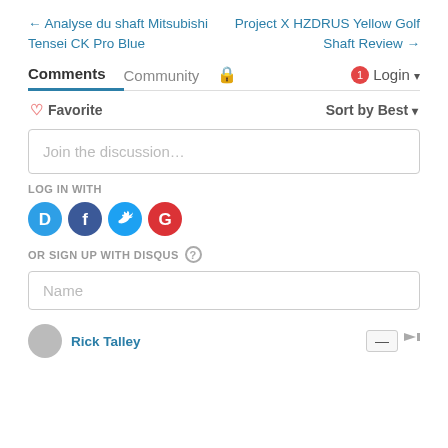← Analyse du shaft Mitsubishi Tensei CK Pro Blue
Project X HZDRUS Yellow Golf Shaft Review →
Comments   Community   🔒   1   Login ▾
♡ Favorite   Sort by Best ▾
Join the discussion…
LOG IN WITH
[Figure (infographic): Four social login icons: Disqus (blue D), Facebook (dark blue f), Twitter (light blue bird), Google (red G)]
OR SIGN UP WITH DISQUS ?
Name
Rick Talley